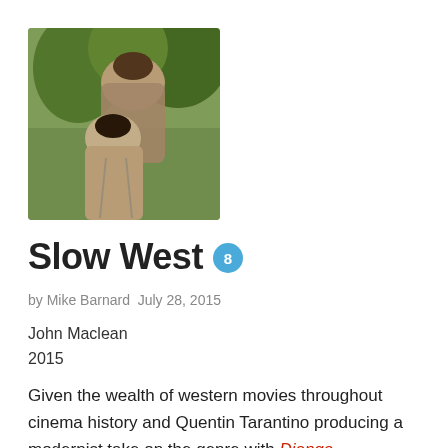[Figure (photo): A still from the film Slow West showing two actors in period costume outdoors]
Slow West 8
by Mike Barnard July 28, 2015
John Maclean
2015
Given the wealth of western movies throughout cinema history and Quentin Tarantino producing a modernist take on the genre with Django Unchained, it is with some surprise that Slow West manages to provide an iconic take on the genre.